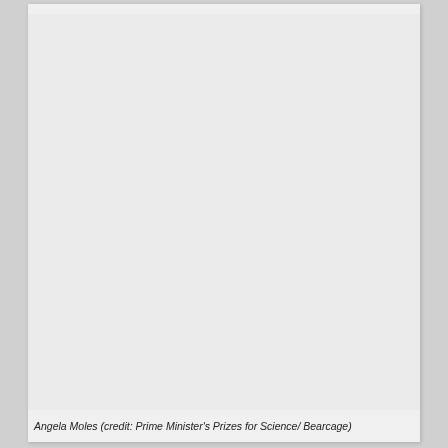[Figure (photo): Large blank/light grey photograph area occupying most of the page, showing Angela Moles (portrait or event photo, content not visible at this resolution).]
Angela Moles (credit: Prime Minister's Prizes for Science/ Bearcage)